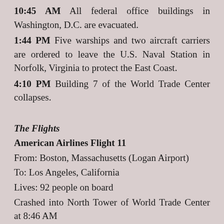10:45 AM All federal office buildings in Washington, D.C. are evacuated.
1:44 PM Five warships and two aircraft carriers are ordered to leave the U.S. Naval Station in Norfolk, Virginia to protect the East Coast.
4:10 PM Building 7 of the World Trade Center collapses.
The Flights
American Airlines Flight 11
From: Boston, Massachusetts (Logan Airport)
To: Los Angeles, California
Lives: 92 people on board
Crashed into North Tower of World Trade Center at 8:46 AM
United Airlines Flight ...